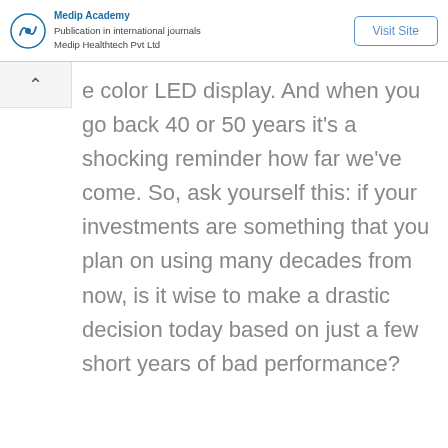Publication in international journals Medip Healthtech Pvt Ltd | Visit Site
e color LED display. And when you go back 40 or 50 years it's a shocking reminder how far we've come. So, ask yourself this: if your investments are something that you plan on using many decades from now, is it wise to make a drastic decision today based on just a few short years of bad performance?